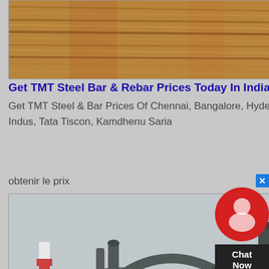[Figure (photo): Close-up photo of wood grain or sand/soil texture with reddish-brown striped pattern]
Get TMT Steel Bar & Rebar Prices Today In India SteelMint
Get TMT Steel & Bar Prices Of Chennai, Bangalore, Hyderabad, Raipur, Delhi. Find TMT Prices Of SRMB, SAIL, VIZAG, JSW, Indus, Tata Tiscon, Kamdhenu Saria
obtenir le prix
[Figure (photo): Industrial photo of TMT bar manufacturing facility with large grey cylindrical machinery, conveyor belts, and industrial equipment in an outdoor setting]
6 TMT Bar Manufacturers In India You Must Know Of TMT
14/02/2018· Whether it's a commercial building or a residential house, the strength of a building depends on the quality of TMT bars and. And when it comes to choosing a TMT bar, one of the best